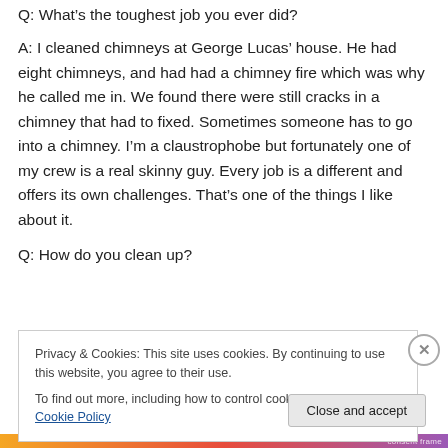Q: What's the toughest job you ever did?
A: I cleaned chimneys at George Lucas' house. He had eight chimneys, and had had a chimney fire which was why he called me in. We found there were still cracks in a chimney that had to fixed. Sometimes someone has to go into a chimney. I'm a claustrophobe but fortunately one of my crew is a real skinny guy. Every job is a different and offers its own challenges. That's one of the things I like about it.
Q: How do you clean up?
Privacy & Cookies: This site uses cookies. By continuing to use this website, you agree to their use.
To find out more, including how to control cookies, see here: Cookie Policy
Close and accept